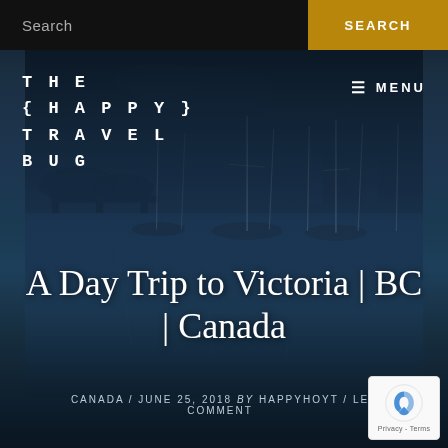Search | SEARCH
[Figure (photo): Harbor with sailboats and marina at dusk with city skyline in background, dark blue tones]
THE {HAPPY} TRAVEL BUG
☰  MENU
A Day Trip to Victoria | BC | Canada
CANADA / JUNE 25, 2018 by HAPPYHOYT / LEAVE A COMMENT